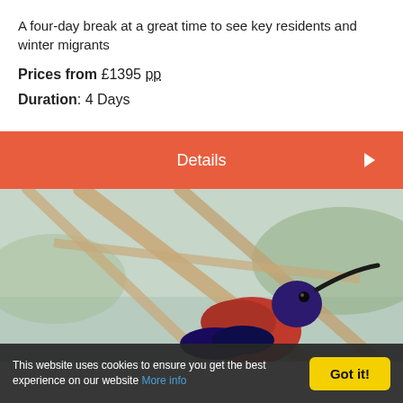A four-day break at a great time to see key residents and winter migrants
Prices from £1395 pp
Duration: 4 Days
Details
[Figure (photo): Close-up photo of a sunbird (dark blue and red plumage) with a curved beak, perched in front of blurred wooden poles and green background]
This website uses cookies to ensure you get the best experience on our website More info